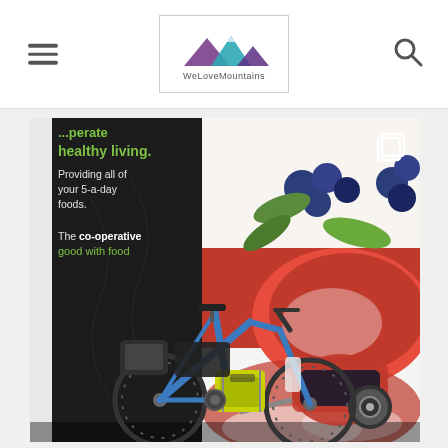WeLoveMountains website header with hamburger menu, logo, and search icon
[Figure (photo): A loaded touring bicycle with yellow panniers and a child trailer parked in front of a large Co-operative supermarket advertisement billboard. The billboard shows fresh fruits (strawberries, blueberries, mint) on a dark background with text: 'healthy living. Providing all of your 5-a-day foods. The co-operative good with food'. A gallery/multi-image icon is visible in the top right corner of the photo.]